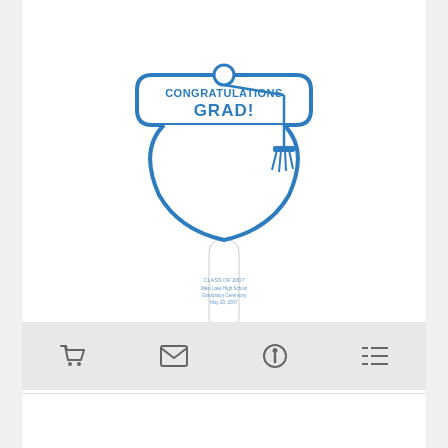[Figure (illustration): Graduation cap hand fan product image — a white fan shaped like a mortarboard with blue outline, 'CONGRATULATIONS GRAD!' text in blue, a blue tassel, and a handle with 'CLASS OF 2007' printed vertically.]
Graduation Cap Hand Fan
# Hand Fan
25 day production time
$1.63 - $4.17 | Min. Qty: 25